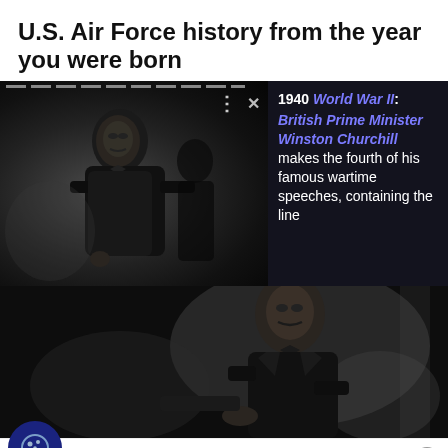U.S. Air Force history from the year you were born
[Figure (screenshot): Screenshot of a web article showing a black-and-white photograph of Winston Churchill seated, with an overlay popup showing year 1940 and text about World War II: British Prime Minister Winston Churchill makes the fourth of his famous wartime speeches, containing the line...]
[Figure (photo): Larger black-and-white photograph of Winston Churchill seated in a chair, wearing a dark suit, looking serious.]